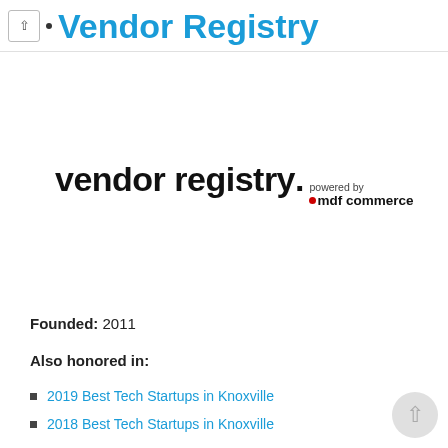Vendor Registry
[Figure (logo): vendor registry. powered by mdf commerce logo — bold black sans-serif wordmark with a red dot before 'mdf commerce']
Founded: 2011
Also honored in:
2019 Best Tech Startups in Knoxville
2018 Best Tech Startups in Knoxville